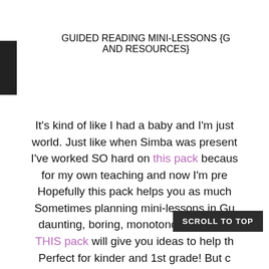GUIDED READING MINI-LESSONS {G AND RESOURCES}
It's kind of like I had a baby and I'm just world. Just like when Simba was present I've worked SO hard on this pack becaus for my own teaching and now I'm pre Hopefully this pack helps you as much Sometimes planning mini-lessons in Gu daunting, boring, monotonous, and do THIS pack will give you ideas to help th
SCROLL TO TOP
Perfect for kinder and 1st grade! But c